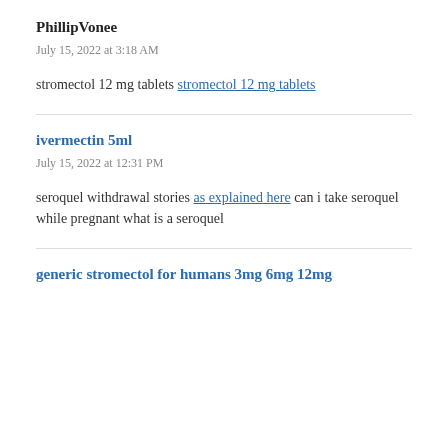PhillipVonee
July 15, 2022 at 3:18 AM
stromectol 12 mg tablets stromectol 12 mg tablets
ivermectin 5ml
July 15, 2022 at 12:31 PM
seroquel withdrawal stories as explained here can i take seroquel while pregnant what is a seroquel
generic stromectol for humans 3mg 6mg 12mg